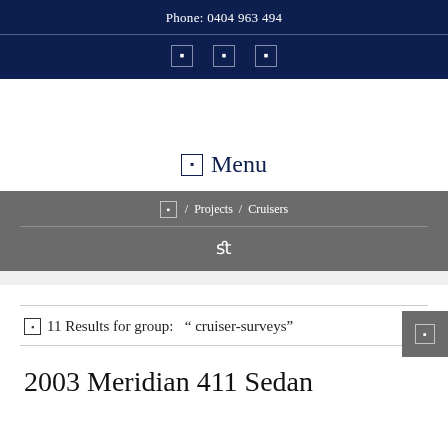Phone: 0404 963 494
☰  Menu
🏠 / Projects / Cruisers
🔍
□ 11 Results for group:  " cruiser-surveys"
2003 Meridian 411 Sedan